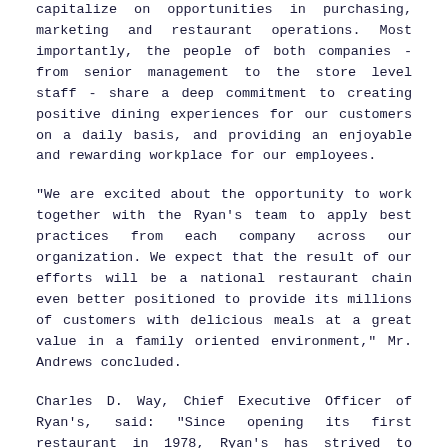capitalize on opportunities in purchasing, marketing and restaurant operations. Most importantly, the people of both companies - from senior management to the store level staff - share a deep commitment to creating positive dining experiences for our customers on a daily basis, and providing an enjoyable and rewarding workplace for our employees.
"We are excited about the opportunity to work together with the Ryan's team to apply best practices from each company across our organization. We expect that the result of our efforts will be a national restaurant chain even better positioned to provide its millions of customers with delicious meals at a great value in a family oriented environment," Mr. Andrews concluded.
Charles D. Way, Chief Executive Officer of Ryan's, said: "Since opening its first restaurant in 1978, Ryan's has strived to serve great meals to our loyal customers, to be a great place for our employees to work and to create value for our shareholders. In joining forces with Buffets, we have found a partner committed to each of these principles. Buffets respects the heritage of our brands and, like Purple, has a long history of great customer